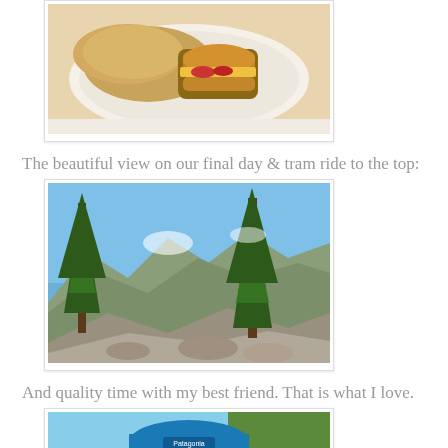[Figure (photo): A plate of food with rice and a burger/sandwich, top portion cropped at top of page]
The beautiful view on our final day & tram ride to the top:
[Figure (photo): Mountain landscape with tall pine trees against a blue sky, rocky terrain and mountain valley visible below]
And quality time with my best friend. That is what I love.
[Figure (photo): A man wearing a blue Patagonia cap and sunglasses, outdoors with trees in background, photo cropped at bottom]